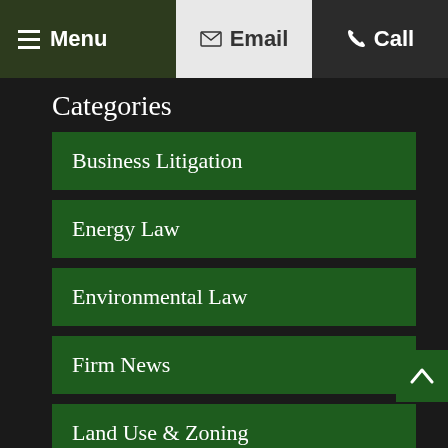Menu  Email  Call
Categories
Business Litigation
Energy Law
Environmental Law
Firm News
Land Use & Zoning
Real Estate